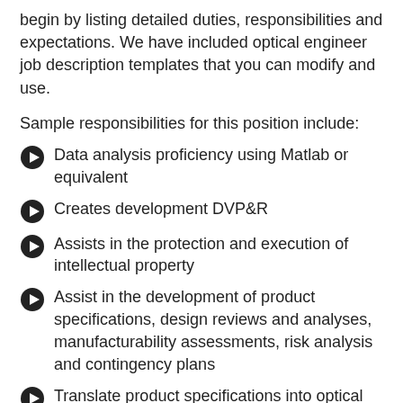begin by listing detailed duties, responsibilities and expectations. We have included optical engineer job description templates that you can modify and use.
Sample responsibilities for this position include:
Data analysis proficiency using Matlab or equivalent
Creates development DVP&R
Assists in the protection and execution of intellectual property
Assist in the development of product specifications, design reviews and analyses, manufacturability assessments, risk analysis and contingency plans
Translate product specifications into optical subsystem requirements
Define process and metrology requirements to guarantee optical performance
Transfer process and tooling from equipment vendor